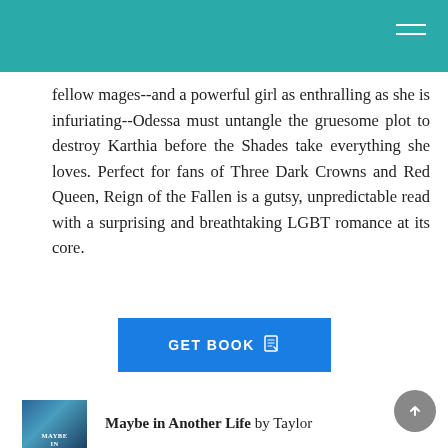fellow mages--and a powerful girl as enthralling as she is infuriating--Odessa must untangle the gruesome plot to destroy Karthia before the Shades take everything she loves. Perfect for fans of Three Dark Crowns and Red Queen, Reign of the Fallen is a gutsy, unpredictable read with a surprising and breathtaking LGBT romance at its core.
[Figure (other): GET BOOK button with document icon, blue background]
[Figure (illustration): Book cover thumbnail for 'Maybe in Another Life' with teal/dark blue color scheme showing text MAYBE IN]
Maybe in Another Life by Taylor